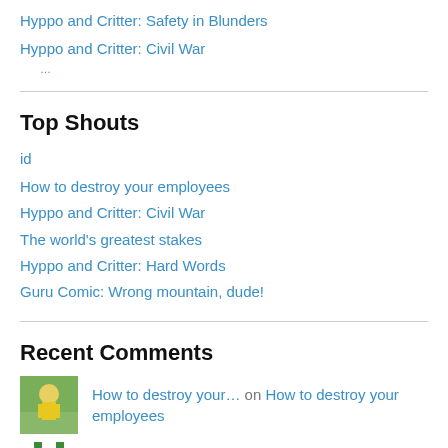Hyppo and Critter: Safety in Blunders
Hyppo and Critter: Civil War
Top Shouts
id
How to destroy your employees
Hyppo and Critter: Civil War
The world's greatest stakes
Hyppo and Critter: Hard Words
Guru Comic: Wrong mountain, dude!
Recent Comments
How to destroy your… on How to destroy your employees
Jack on Feeling royally flushed